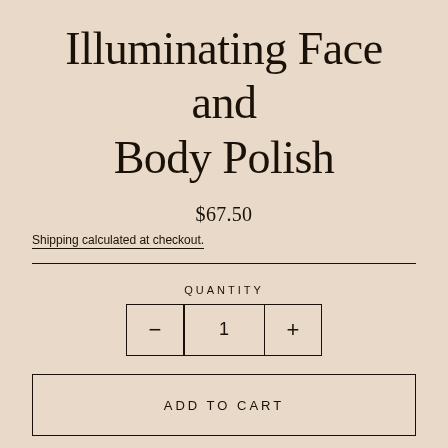Illuminating Face and Body Polish
$67.50
Shipping calculated at checkout.
QUANTITY
− 1 +
ADD TO CART